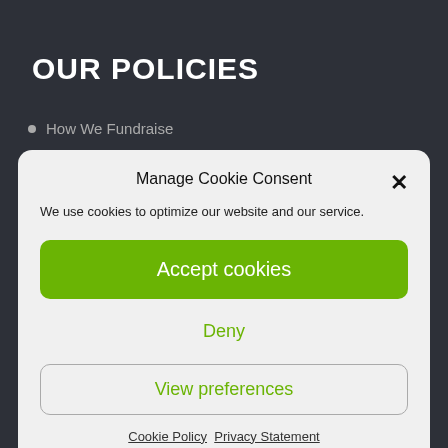OUR POLICIES
How We Fundraise
Manage Cookie Consent
We use cookies to optimize our website and our service.
Accept cookies
Deny
View preferences
Cookie Policy   Privacy Statement